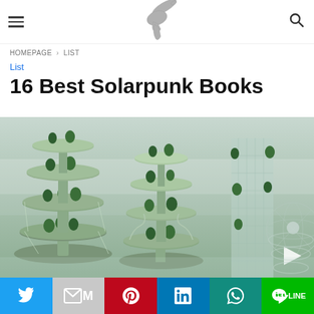≡  [logo: ray-gun illustration]  🔍
HOMEPAGE › LIST
List
16 Best Solarpunk Books
[Figure (photo): Futuristic solarpunk architecture: stacked disc-shaped greenhouse buildings covered in trees and greenery, interconnected with spiral ramps, set against a misty sky. On the right, a cylindrical glass tower with trees on each level and a geodesic sphere structure.]
Twitter | Gmail | Pinterest | LinkedIn | WhatsApp | Line